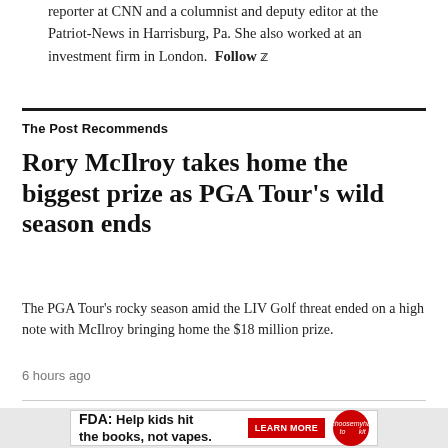reporter at CNN and a columnist and deputy editor at the Patriot-News in Harrisburg, Pa. She also worked at an investment firm in London. Follow
The Post Recommends
Rory McIlroy takes home the biggest prize as PGA Tour's wild season ends
The PGA Tour's rocky season amid the LIV Golf threat ended on a high note with McIlroy bringing home the $18 million prize.
6 hours ago
[Figure (other): Advertisement banner: FDA: Help kids hit the books, not vapes. Learn More button and circular logo.]